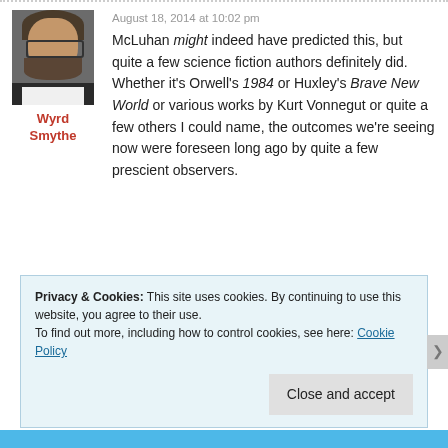[Figure (photo): Profile photo of Wyrd Smythe, a man with glasses and beard]
Wyrd Smythe
August 18, 2014 at 10:02 pm
McLuhan might indeed have predicted this, but quite a few science fiction authors definitely did. Whether it's Orwell's 1984 or Huxley's Brave New World or various works by Kurt Vonnegut or quite a few others I could name, the outcomes we're seeing now were foreseen long ago by quite a few prescient observers.
Privacy & Cookies: This site uses cookies. By continuing to use this website, you agree to their use.
To find out more, including how to control cookies, see here: Cookie Policy